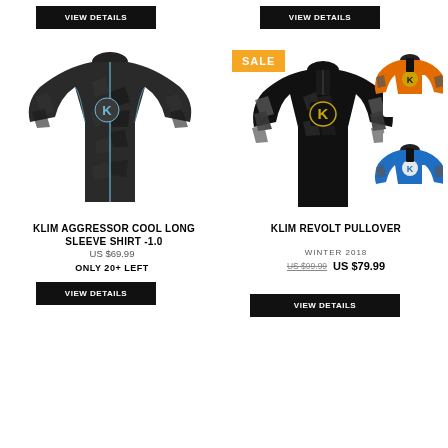[Figure (photo): Black long-sleeve Klim Aggressor Cool shirt on white background, left column top]
[Figure (photo): Three color variants of Klim Revolt Pullover: black/camo main, orange, and blue; with a SALE badge overlay, right column top]
VIEW DETAILS
VIEW DETAILS
KLIM AGGRESSOR COOL LONG SLEEVE SHIRT -1.0
US $69.99
ONLY 20+ LEFT
VIEW DETAILS
KLIM REVOLT PULLOVER
WINTER 2018
US $99.99   US $79.99
VIEW DETAILS